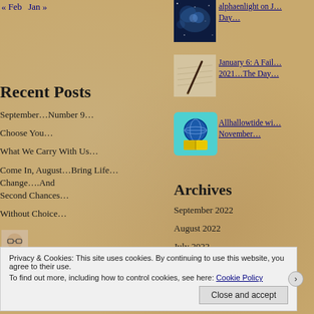« Feb   Jan »
Recent Posts
September…Number 9…
Choose You…
What We Carry With Us…
Come In, August…Bring Life…Change….And Second Chances…
Without Choice…
Recent Comments
[Figure (photo): Space/nebula image thumbnail]
alphaenlight on J… Day…
[Figure (photo): Pen on paper thumbnail]
January 6: A Fail… 2021…The Day…
[Figure (illustration): Globe with book icon]
Allhallowtide wi… November…
Archives
September 2022
August 2022
July 2022
June 2022
[Figure (photo): Person avatar/profile photo]
From Flanders battle… on End of
Privacy & Cookies: This site uses cookies. By continuing to use this website, you agree to their use.
To find out more, including how to control cookies, see here: Cookie Policy
Close and accept